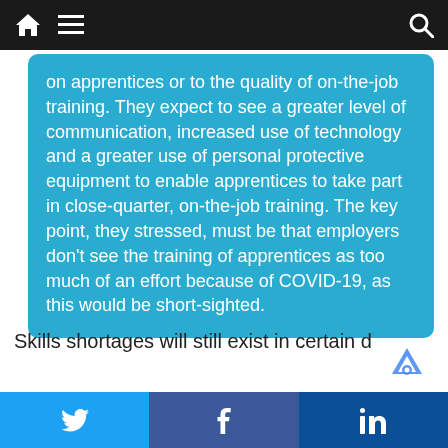[Navigation bar with home, menu, and search icons]
on apprentices or to the quality of on-the-job training. They expect to see a greater level of communication, increased use of technology and a greater use of personal protective equipment to enable apprentices to take part in close-quarter, on-the-job training. The key point, they stressed, must be that employers don't see the training of apprentices as too much of an effort because of COVID-19, as this would be short-sighted.
Skills shortages will still exist in certain disciplin…
[Figure (other): Social share buttons row: Twitter (blue), Facebook (dark blue), LinkedIn (dark navy blue)]